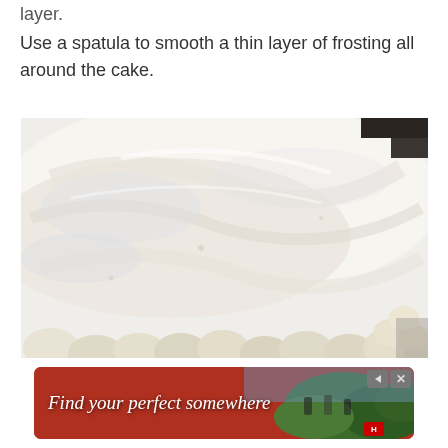layer.
Use a spatula to smooth a thin layer of frosting all around the cake.
[Figure (photo): Close-up photo of white frosting being spread on a cake, showing swirled cream texture with decorative piped edges at the bottom.]
[Figure (other): Advertisement banner with red background reading 'Find your perfect somewhere' with outdoor/travel imagery.]